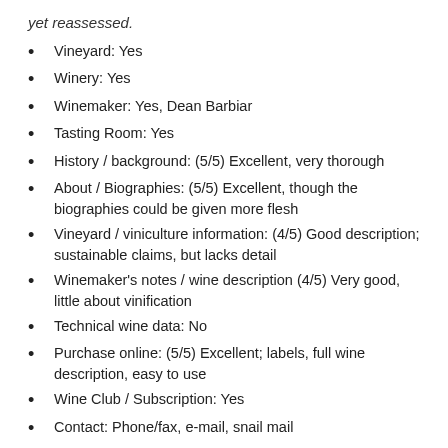yet reassessed.
Vineyard: Yes
Winery: Yes
Winemaker: Yes, Dean Barbiar
Tasting Room: Yes
History / background: (5/5) Excellent, very thorough
About / Biographies: (5/5) Excellent, though the biographies could be given more flesh
Vineyard / viniculture information: (4/5) Good description; sustainable claims, but lacks detail
Winemaker's notes / wine description (4/5) Very good, little about vinification
Technical wine data: No
Purchase online: (5/5) Excellent; labels, full wine description, easy to use
Wine Club / Subscription:  Yes
Contact: Phone/fax, e-mail, snail mail
Directions: Google map